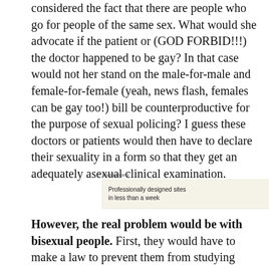considered the fact that there are people who go for people of the same sex. What would she advocate if the patient or (GOD FORBID!!!) the doctor happened to be gay? In that case would not her stand on the male-for-male and female-for-female (yeah, news flash, females can be gay too!) bill be counterproductive for the purpose of sexual policing? I guess these doctors or patients would then have to declare their sexuality in a form so that they get an adequately asexual clinical examination.
[Figure (other): WordPress advertisement banner: 'Professionally designed sites in less than a week' with WordPress logo]
However, the real problem would be with bisexual people. First, they would have to make a law to prevent them from studying Medicine unless they changed their sexual orientation. And second,